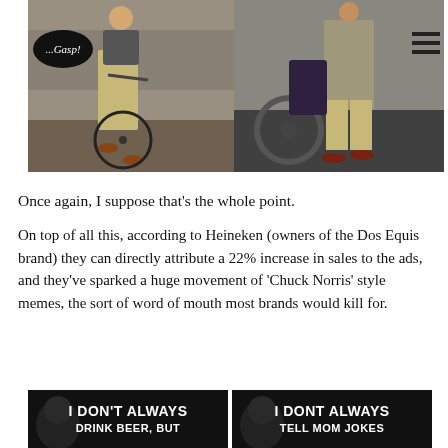[Figure (photo): Two street style photos side by side: left shows a man on a bicycle with khaki trousers and brown shoes, with a speech bubble saying '...Gasp!'; right shows a man standing near motorcycles in a grey suit with brown shoes.]
Once again, I suppose that's the whole point.
On top of all this, according to Heineken (owners of the Dos Equis brand) they can directly attribute a 22% increase in sales to the ads, and they've sparked a huge movement of 'Chuck Norris' style memes, the sort of word of mouth most brands would kill for.
[Figure (photo): Two internet meme images side by side at the bottom: left says 'I DON'T ALWAYS DRINK BEER, BUT'; right says 'I DONT ALWAYS TELL MOM JOKES']